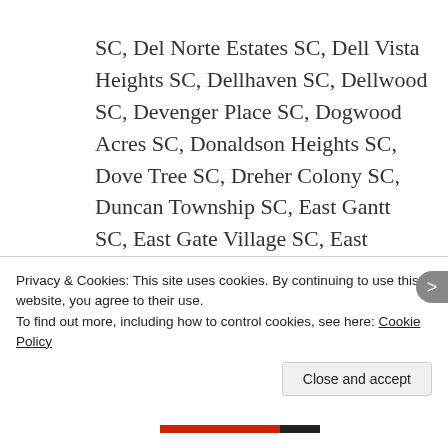SC, Del Norte Estates SC, Dell Vista Heights SC, Dellhaven SC, Dellwood SC, Devenger Place SC, Dogwood Acres SC, Donaldson Heights SC, Dove Tree SC, Dreher Colony SC, Duncan Township SC, East Gantt SC, East Gate Village SC, East Highland Estates SC, East View SC, Edwards Forest Heights SC, Elizabeth Heights SC, Elleston
Privacy & Cookies: This site uses cookies. By continuing to use this website, you agree to their use.
To find out more, including how to control cookies, see here: Cookie Policy